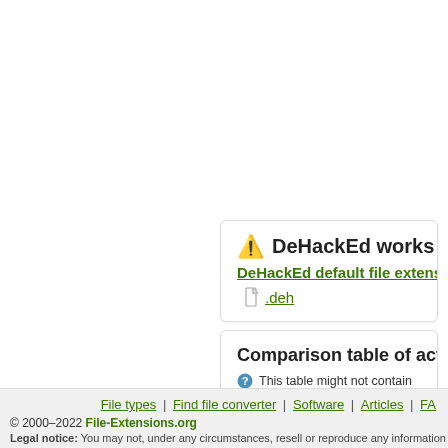⚠️ DeHackEd works with th...
DeHackEd default file extension a...
.deh
Comparison table of actions that...
This table might not contain all possible a... If you need more information please conta...
| File type \ Action | Open | Save | Edit | View | Pl... |
| --- | --- | --- | --- | --- | --- |
| deh | - | - | - | - | - |
File types | Find file converter | Software | Articles | FA...
© 2000–2022 File-Extensions.org
Legal notice: You may not, under any circumstances, resell or reproduce any information for commercial us...